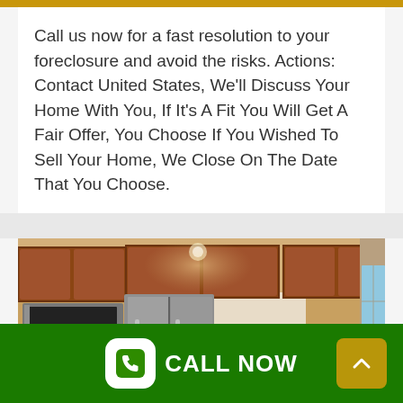Call us now for a fast resolution to your foreclosure and avoid the risks. Actions: Contact United States, We'll Discuss Your Home With You, If It's A Fit You Will Get A Fair Offer, You Choose If You Wished To Sell Your Home, We Close On The Date That You Choose.
[Figure (photo): Interior photo of a modern kitchen with wood cabinetry, stainless steel appliances including a refrigerator and microwave, granite countertops, and a kitchen sink in the foreground.]
CALL NOW